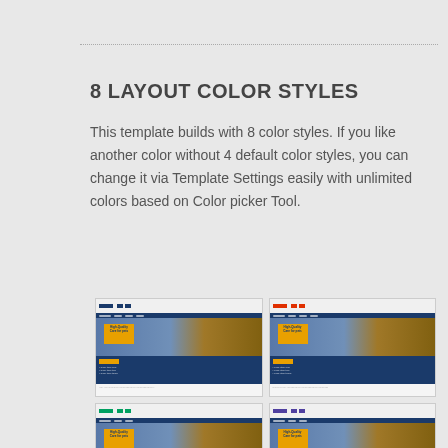8 LAYOUT COLOR STYLES
This template builds with 8 color styles. If you like another color without 4 default color styles, you can change it via Template Settings easily with unlimited colors based on Color picker Tool.
[Figure (screenshot): Four pet website template screenshots shown in a 2x2 grid, each showing a pet care website with blue/navy header, golden dog image, and orange-yellow 'High-Quality Care for pets' call-to-action box. Each screenshot has a different color accent indicator at the top (blue, red/orange, green, purple).]